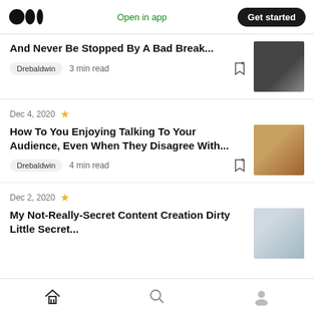Medium app header with logo, Open in app, Get started
And Never Be Stopped By A Bad Break...
Drebaldwin  3 min read
Dec 4, 2020
How To You Enjoying Talking To Your Audience, Even When They Disagree With...
Drebaldwin  4 min read
Dec 2, 2020
My Not-Really-Secret Content Creation Dirty Little Secret...
Home  Search  Profile navigation icons